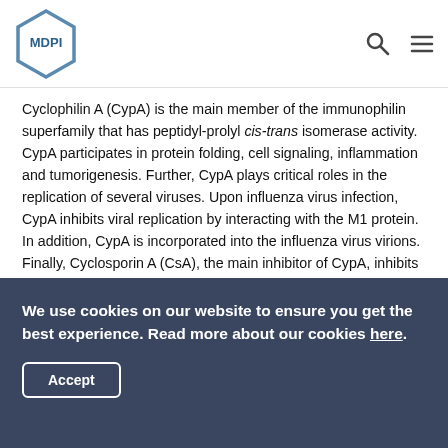MDPI
Cyclophilin A (CypA) is the main member of the immunophilin superfamily that has peptidyl-prolyl cis-trans isomerase activity. CypA participates in protein folding, cell signaling, inflammation and tumorigenesis. Further, CypA plays critical roles in the replication of several viruses. Upon influenza virus infection, CypA inhibits viral replication by interacting with the M1 protein. In addition, CypA is incorporated into the influenza virus virions. Finally, Cyclosporin A (CsA), the main inhibitor of CypA, inhibits influenza virus replication through CypA-dependent and -independent pathways. This review briefly summarizes recent advances in understanding the roles of CypA during influenza virus infection. View Full-Text
Keywords: influenza virus; Cyclophilin A; Cyclosporin A; virus-host interaction
We use cookies on our website to ensure you get the best experience. Read more about our cookies here. Accept